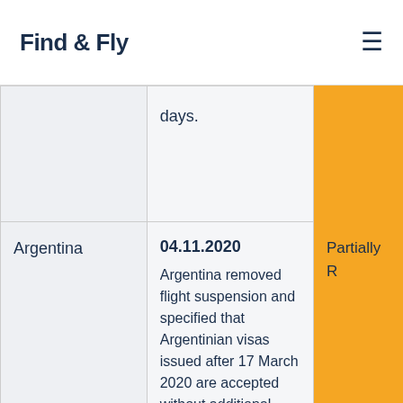Find & Fly
| Country | Date / Update | Status |
| --- | --- | --- |
|  | days. |  |
| Argentina | 04.11.2020 Argentina removed flight suspension and specified that Argentinian visas issued after 17 March 2020 are accepted without additional documentation. Argentina | Partially R |